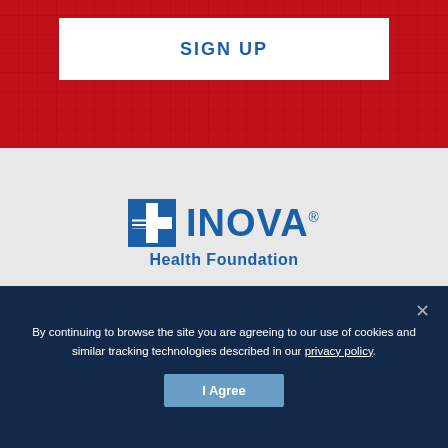SIGN UP
[Figure (logo): Inova Health Foundation logo: blue square icon with cross/plus shape and horizontal lines, followed by INOVA® in large bold blue text, and 'Health Foundation' in smaller blue text below]
8110 Gatehouse Road, Suite 200 East
Falls Church, VA 22042-1210
PH (703) 289-2072
By continuing to browse the site you are agreeing to our use of cookies and similar tracking technologies described in our privacy policy.
I Agree